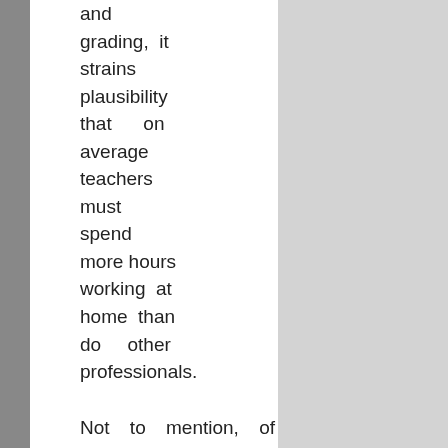and grading, it strains plausibility that on average teachers must spend more hours working at home than do other professionals.
Not to mention, of course, summer vacation, Christmas break, spring break, fall break.... Oh, and the fact that they have lifetime job security